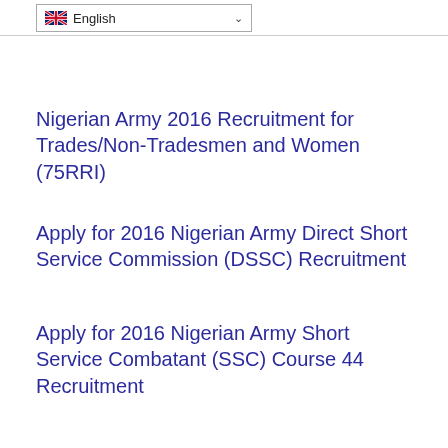English
Nigerian Army 2016 Recruitment for Trades/Non-Tradesmen and Women (75RRI)
Apply for 2016 Nigerian Army Direct Short Service Commission (DSSC) Recruitment
Apply for 2016 Nigerian Army Short Service Combatant (SSC) Course 44 Recruitment